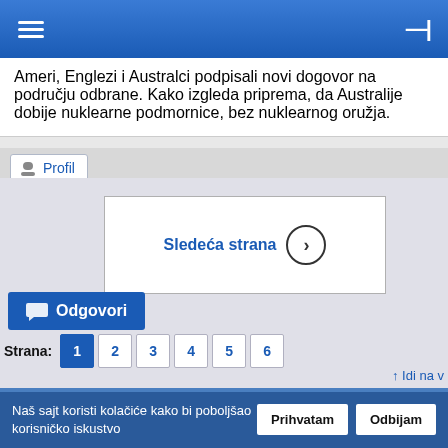[Figure (screenshot): Blue navigation bar with hamburger menu icon on left and collapse/pin icon on right]
Ameri, Englezi i Australci podpisali novi dogovor na području odbrane. Kako izgleda priprema, da Australije dobije nuklearne podmornice, bez nuklearnog oružja.
[Figure (screenshot): Profile tab button with user icon and text 'Profil']
[Figure (screenshot): Sledeća strana (Next page) button with right arrow in a bordered box]
[Figure (screenshot): Odgovori (Reply) button in blue with chat bubble icon]
Strana: 1 2 3 4 5 6
↑ Idi na v...
Registruj se da bi komentarisao !
Naš sajt koristi kolačiće kako bi poboljšao korisničko iskustvo
[Figure (screenshot): Cookie consent buttons: Prihvatam and Odbijam]